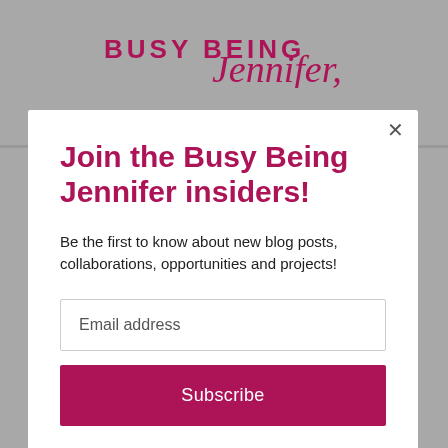[Figure (logo): Busy Being Jennifer blog logo in dark pink/maroon script and block lettering]
Join the Busy Being Jennifer insiders!
Be the first to know about new blog posts, collaborations, opportunities and projects!
Email address
Subscribe
Thank you so much for including me in